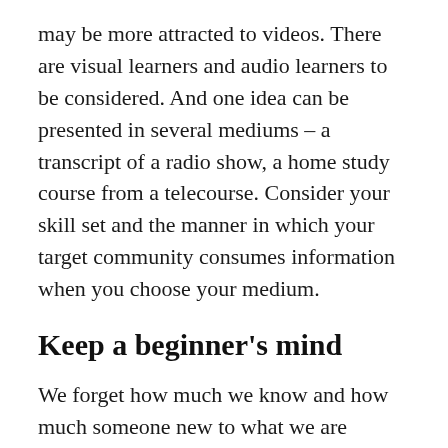may be more attracted to videos. There are visual learners and audio learners to be considered. And one idea can be presented in several mediums – a transcript of a radio show, a home study course from a telecourse. Consider your skill set and the manner in which your target community consumes information when you choose your medium.
Keep a beginner's mind
We forget how much we know and how much someone new to what we are teaching does not know. Break your material down into small